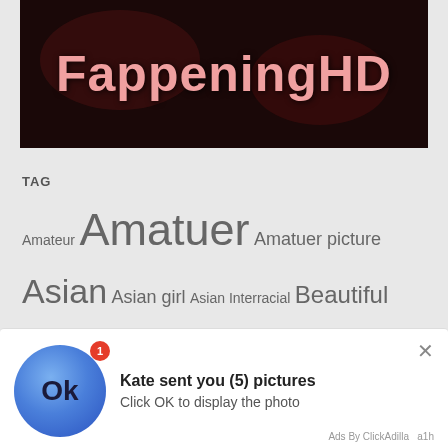[Figure (illustration): FappeningHD website banner with pink text logo on dark red/black background]
TAG
Amateur Amatuer Amatuer picture Asian Asian girl Asian Interracial Beautiful Beautiful Face Beauty Big Boobs Big Tits Blowjob Booty Cam Girls Chinese Chinese Model Sex Videos Collection Cosplay Couple Cute girl FEILIN Hidden cam Hot girl HuaYang IMISS Japanese Korean Leaked MFStar Model MyGirl Naked Scandal Sex S... UGIR... XIU...
[Figure (screenshot): Notification popup: Kate sent you (5) pictures. Click OK to display the photo. Blue circle avatar with Ok text. Ads By ClickAdilla a1h]